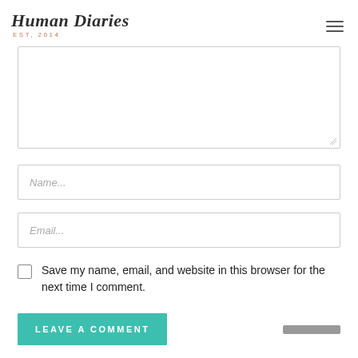Human Diaries EST, 2014
[Figure (screenshot): Comment form with textarea, name field, email field, save checkbox, and leave a comment button]
Save my name, email, and website in this browser for the next time I comment.
LEAVE A COMMENT